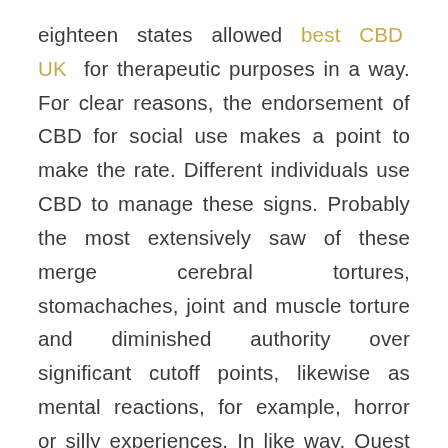eighteen states allowed best CBD UK for therapeutic purposes in a way. For clear reasons, the endorsement of CBD for social use makes a point to make the rate. Different individuals use CBD to manage these signs. Probably the most extensively saw of these merge cerebral tortures, stomachaches, joint and muscle torture and diminished authority over significant cutoff points, likewise as mental reactions, for example, horror or silly experiences. In like way, Quest Diagnostics says that most patients concerning 60% of patients neglect to utilize their expertly supported medications as displayed by their referencing expert in 2012.